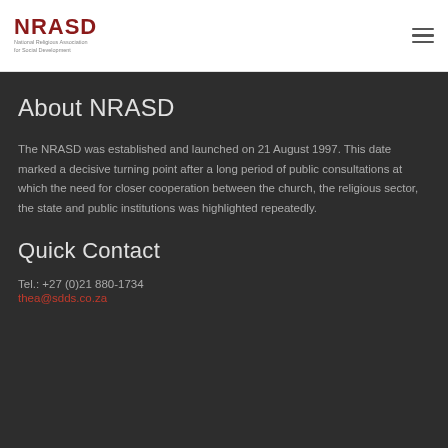NRASD — National Religious Association for Social Development
About NRASD
The NRASD was established and launched on 21 August 1997. This date marked a decisive turning point after a long period of public consultations at which the need for closer cooperation between the church, the religious sector, the state and public institutions was highlighted repeatedly.
Quick Contact
Tel.: +27 (0)21 880-1734
thea@sdds.co.za